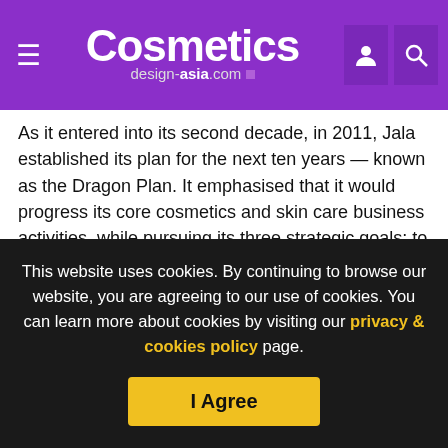Cosmetics design-asia.com
As it entered into its second decade, in 2011, Jala established its plan for the next ten years — known as the Dragon Plan. It emphasised that it would progress its core cosmetics and skin care business activities, while pursuing its three strategic goals: to "be a domestic industry leader in cosmetics", "enter into international market", and "establish China's own world-class brand".
Through its efforts in gaining domestic market share and brand performance, Jala has now created over 21,800 retail
This website uses cookies. By continuing to browse our website, you are agreeing to our use of cookies. You can learn more about cookies by visiting our privacy & cookies policy page.
I Agree